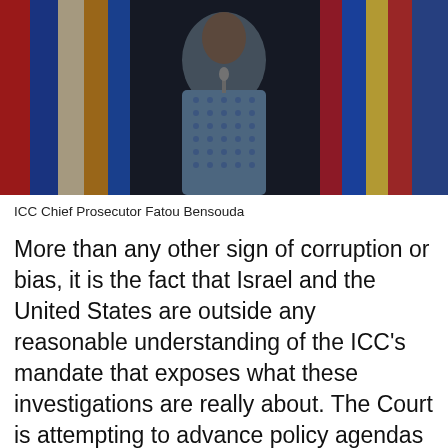[Figure (photo): ICC Chief Prosecutor Fatou Bensouda speaking at a podium with colorful flags in the background, wearing a blue patterned outfit]
ICC Chief Prosecutor Fatou Bensouda
More than any other sign of corruption or bias, it is the fact that Israel and the United States are outside any reasonable understanding of the ICC’s mandate that exposes what these investigations are really about. The Court is attempting to advance policy agendas in the guise of judicial proceeding. In the case of Israel specifically, this reality could hardly be any clearer. Apparently, some ICC officials believe that by branding Israeli actions of self-defense as war crimes – a status that, as explained, would have real world consequences – they can strong arm its